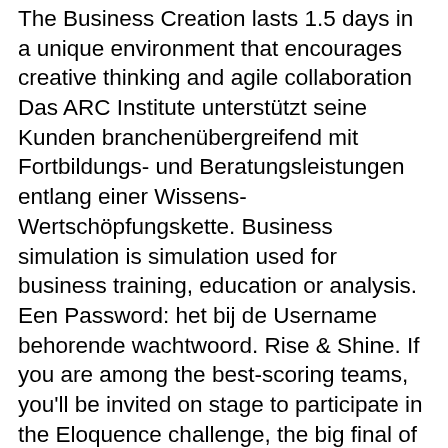The Business Creation lasts 1.5 days in a unique environment that encourages creative thinking and agile collaboration Das ARC Institute unterstützt seine Kunden branchenübergreifend mit Fortbildungs- und Beratungsleistungen entlang einer Wissens-Wertschöpfungskette. Business simulation is simulation used for business training, education or analysis. Een Password: het bij de Username behorende wachtwoord. Rise & Shine. If you are among the best-scoring teams, you'll be invited on stage to participate in the Eloquence challenge, the big final of the Solvay Business Game. Heeft u een thema op het oog dat hieronder niet genoemd wordt, u kunt het daarbij zo gek niet bedenken, wij gaan graag voor u aan de slag met een Teambuilding Game op maat. Get the best of Sporcle when you Go Orange.This ad-free experience offers more features, more stats, and more fun while also helping to support Sporcle. Een team met een positieve teamgeest, een duidelijke teamverdeling, verbinding en korte lijntjes verhoogt de productiviteit en uiteraard wordt de sfeer binnen uw organisatie er ook beter van. Ble de i en et YS en CHALLENGE